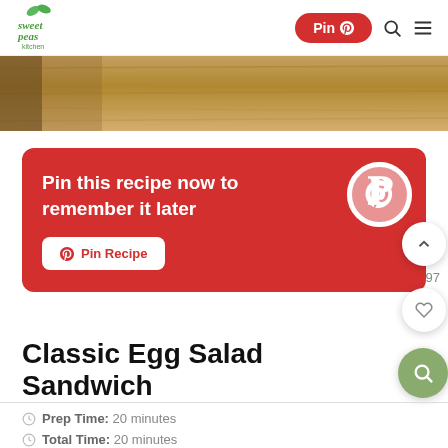sweet peas kitchen — Pin ℗ [search] [menu]
[Figure (photo): Wood surface / table background image strip]
Pin this recipe now to remember it later
Pin Recipe
Classic Egg Salad Sandwich
Prep Time: 20 minutes
Total Time: 20 minutes